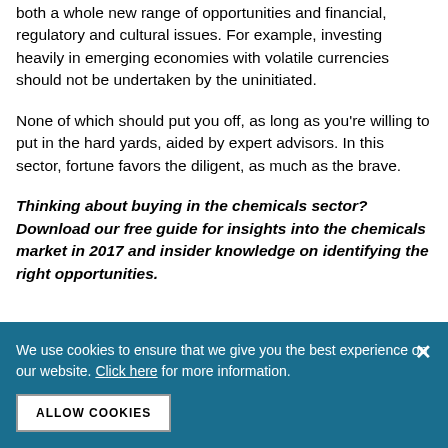both a whole new range of opportunities and financial, regulatory and cultural issues. For example, investing heavily in emerging economies with volatile currencies should not be undertaken by the uninitiated.
None of which should put you off, as long as you're willing to put in the hard yards, aided by expert advisors. In this sector, fortune favors the diligent, as much as the brave.
Thinking about buying in the chemicals sector? Download our free guide for insights into the chemicals market in 2017 and insider knowledge on identifying the right opportunities.
We use cookies to ensure that we give you the best experience on our website. Click here for more information.
ALLOW COOKIES